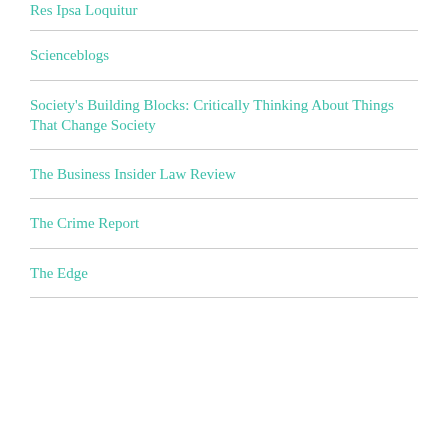Res Ipsa Loquitur
Scienceblogs
Society's Building Blocks: Critically Thinking About Things That Change Society
The Business Insider Law Review
The Crime Report
The Edge